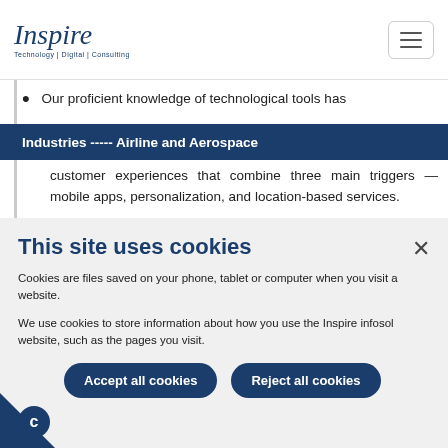Inspire Technology | Digital | Consulting
Our proficient knowledge of technological tools has
Industries ----- Airline and Aerospace
customer experiences that combine three main triggers — mobile apps, personalization, and location-based services.
We build agility into your systems, processes, and
This site uses cookies
Cookies are files saved on your phone, tablet or computer when you visit a website.
We use cookies to store information about how you use the Inspire infosol website, such as the pages you visit.